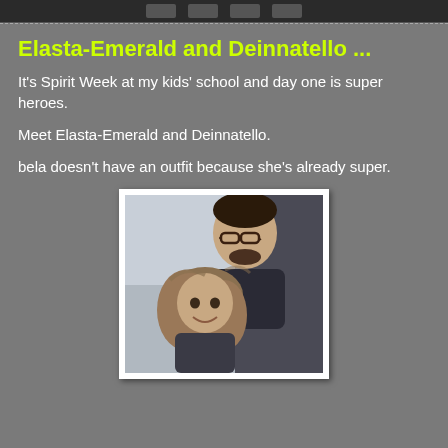Elasta-Emerald and Deinnatello ...
It's Spirit Week at my kids' school and day one is super heroes.
Meet Elasta-Emerald and Deinnatello.
bela doesn't have an outfit because she's already super.
[Figure (photo): Photo of a man wearing glasses and a young girl, taken indoors. The man is behind the girl, both looking at the camera. The image has a white border/frame.]